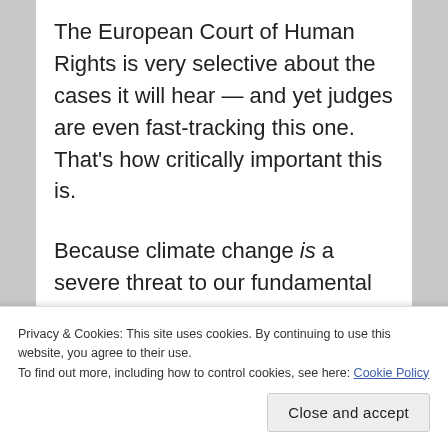The European Court of Human Rights is very selective about the cases it will hear — and yet judges are even fast-tracking this one. That's how critically important this is.
Because climate change is a severe threat to our fundamental human rights — and the crisis has never been more urgent.
2020 is now officially the joint-hottest year ever recorded: a year of runaway wildfires
Privacy & Cookies: This site uses cookies. By continuing to use this website, you agree to their use.
To find out more, including how to control cookies, see here: Cookie Policy